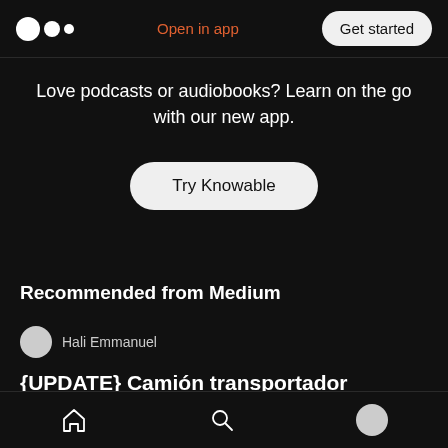Medium logo | Open in app | Get started
Love podcasts or audiobooks? Learn on the go with our new app.
Try Knowable
Recommended from Medium
Hali Emmanuel
{UPDATE} Camión transportador depósito Hack Free Resources Generator
Home | Search | Profile